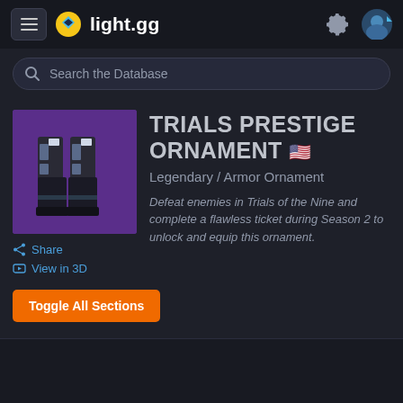light.gg
Search the Database
[Figure (screenshot): Item icon showing armored boots/leg armor on a purple background for Trials Prestige Ornament]
TRIALS PRESTIGE ORNAMENT 🇺🇸
Legendary / Armor Ornament
Defeat enemies in Trials of the Nine and complete a flawless ticket during Season 2 to unlock and equip this ornament.
Share
View in 3D
Toggle All Sections